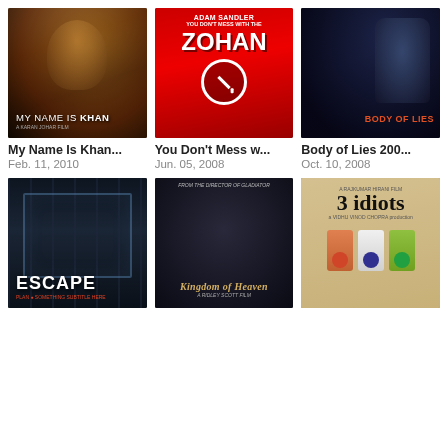[Figure (photo): Movie poster for My Name Is Khan]
[Figure (photo): Movie poster for You Don't Mess with the Zohan]
[Figure (photo): Movie poster for Body of Lies 2008]
My Name Is Khan...
Feb. 11, 2010
You Don't Mess w...
Jun. 05, 2008
Body of Lies 200...
Oct. 10, 2008
[Figure (photo): Movie poster for Escape]
[Figure (photo): Movie poster for Kingdom of Heaven]
[Figure (photo): Movie poster for 3 Idiots]